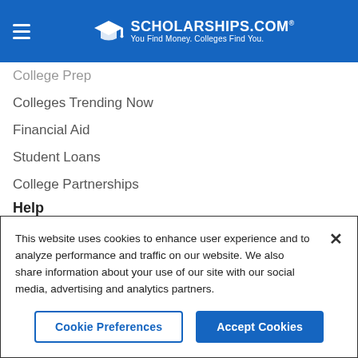SCHOLARSHIPS.COM® — You Find Money. Colleges Find You.
College Prep
Colleges Trending Now
Financial Aid
Student Loans
College Partnerships
Help
FAQ
Linking
This website uses cookies to enhance user experience and to analyze performance and traffic on our website. We also share information about your use of our site with our social media, advertising and analytics partners.
Cookie Preferences   Accept Cookies